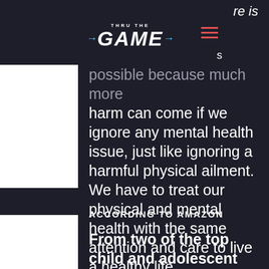re is
[Figure (logo): Thru The Game logo with blue arrows and white bold italic text, hamburger menu icon in red/orange]
possible because much more harm can come if we ignore any mental health issue, just like ignoring a harmful physical ailment. We have to treat our physical and mental health with the same attention and care to live a healthy life.
ACCORDING TO AMAZON
From two of the top child and adolescent psychiatrists at The Hospital for Sick Children comes an accessible guide to common